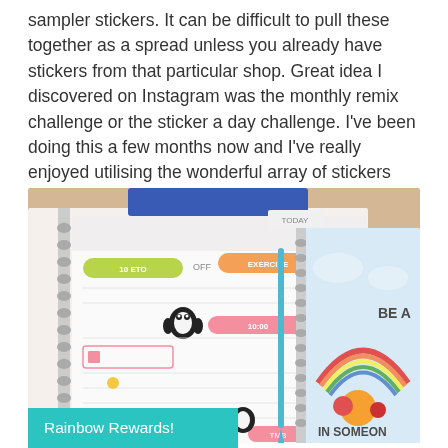sampler stickers. It can be difficult to pull these together as a spread unless you already have stickers from that particular shop. Great idea I discovered on Instagram was the monthly remix challenge or the sticker a day challenge. I've been doing this a few months now and I've really enjoyed utilising the wonderful array of stickers from some fab shops.
[Figure (photo): Photo of two spiral-bound planners open on a wooden desk. The left planner shows a weekly spread with colorful stickers including green, orange and pink functional stickers, checkboxes, and small penguin stickers. The right planner has a decorative cover with a rainbow, flowers, and the text 'BE A... IN SOMEON'. A blue pen is visible between the planners. The image has a teal/turquoise overlay banner at the bottom left with the text 'Rainbow Rewards!'.]
Rainbow Rewards!